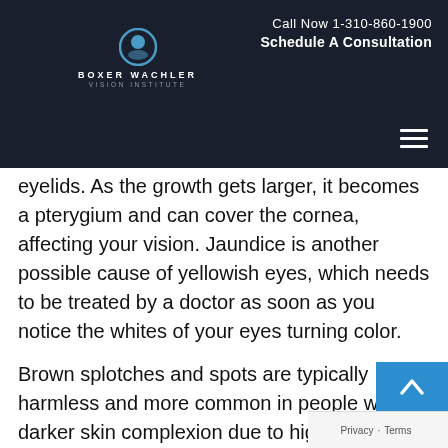Boxer Wachler Vision Institute | Call Now 1-310-860-1900 | Schedule A Consultation
eyelids. As the growth gets larger, it becomes a pterygium and can cover the cornea, affecting your vision. Jaundice is another possible cause of yellowish eyes, which needs to be treated by a doctor as soon as you notice the whites of your eyes turning color.
Brown splotches and spots are typically harmless and more common in people with a darker skin complexion due to higher melanin levels. Freckles (nevus) may happen on the eye, but brown that change over time could be cancerous and need medical attention.